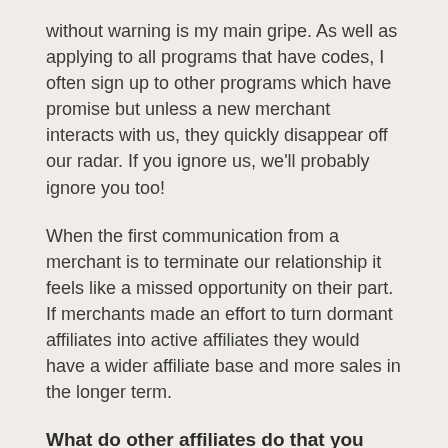without warning is my main gripe. As well as applying to all programs that have codes, I often sign up to other programs which have promise but unless a new merchant interacts with us, they quickly disappear off our radar. If you ignore us, we'll probably ignore you too!
When the first communication from a merchant is to terminate our relationship it feels like a missed opportunity on their part. If merchants made an effort to turn dormant affiliates into active affiliates they would have a wider affiliate base and more sales in the longer term.
What do other affiliates do that you wish they wouldn't?
It would be great if all affiliates followed network terms and conditions and the IAB guidelines but inevitably